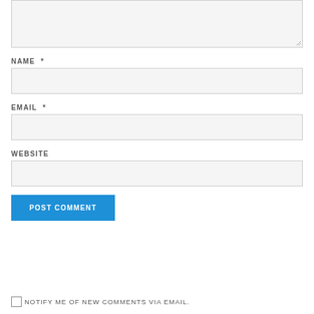[Figure (screenshot): A web comment form showing a textarea (partially visible at top), followed by NAME, EMAIL, and WEBSITE input fields, a POST COMMENT button, and a checkbox for email notifications.]
NAME *
EMAIL *
WEBSITE
POST COMMENT
NOTIFY ME OF NEW COMMENTS VIA EMAIL.